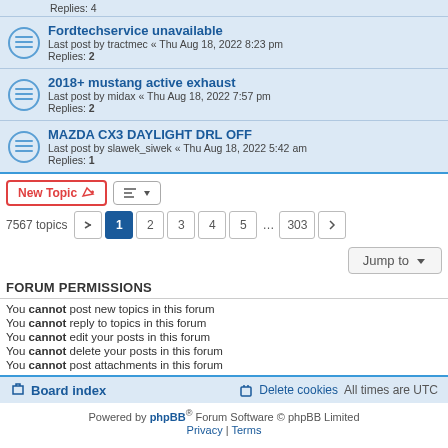Replies: 4
Fordtechservice unavailable — Last post by tractmec « Thu Aug 18, 2022 8:23 pm — Replies: 2
2018+ mustang active exhaust — Last post by midax « Thu Aug 18, 2022 7:57 pm — Replies: 2
MAZDA CX3 DAYLIGHT DRL OFF — Last post by slawek_siwek « Thu Aug 18, 2022 5:42 am — Replies: 1
New Topic | Sort | 7567 topics | 1 2 3 4 5 ... 303 | Jump to
FORUM PERMISSIONS
You cannot post new topics in this forum
You cannot reply to topics in this forum
You cannot edit your posts in this forum
You cannot delete your posts in this forum
You cannot post attachments in this forum
Board index | Delete cookies | All times are UTC
Powered by phpBB® Forum Software © phpBB Limited
Privacy | Terms